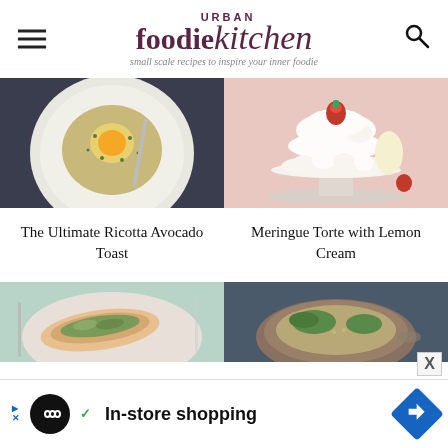[Figure (logo): Urban Foodie Kitchen logo with tagline 'small scale recipes to inspire your inner foodie']
[Figure (photo): Top-down view of ricotta avocado toast on a white plate with a fried egg, herbs, on a dark surface]
[Figure (photo): Meringue torte with lemon cream on a white cake stand with strawberries, pink background]
The Ultimate Ricotta Avocado Toast
Meringue Torte with Lemon Cream
[Figure (photo): Partial view of a fish dish with herbs on a plate, light teal background]
[Figure (photo): Partial view of a bowl dish with greens, dark background]
[Figure (screenshot): Advertisement bar: In-store shopping ad with circular logo, checkmark, and blue diamond arrow icon]